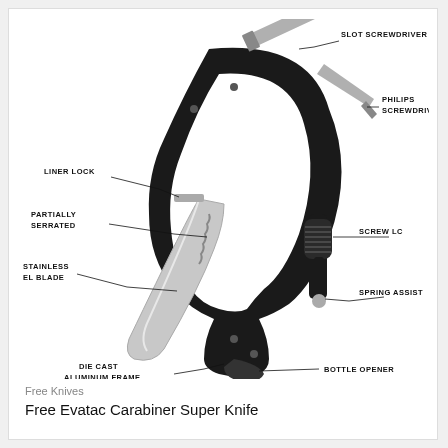[Figure (engineering-diagram): Labeled engineering diagram of an Evatac Carabiner Super Knife showing: Slot Screwdriver, Philips Screwdriver, Liner Lock, Partially Serrated, Stainless El Blade, Screw Lock, Spring Assist, Bottle Opener, Die Cast Aluminum Frame. The tool is a black carabiner with a folding knife blade and multiple tools.]
Free Knives
Free Evatac Carabiner Super Knife